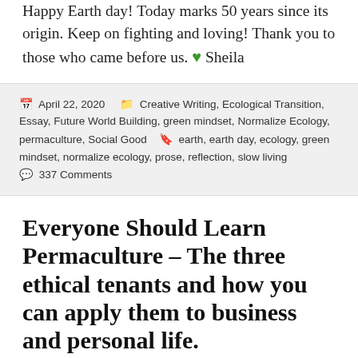Happy Earth day! Today marks 50 years since its origin. Keep on fighting and loving! Thank you to those who came before us. 💚 Sheila
April 22, 2020   Creative Writing, Ecological Transition, Essay, Future World Building, green mindset, Normalize Ecology, permaculture, Social Good   earth, earth day, ecology, green mindset, normalize ecology, prose, reflection, slow living   337 Comments
Everyone Should Learn Permaculture – The three ethical tenants and how you can apply them to business and personal life.
I have been learning about permaculture. Say,